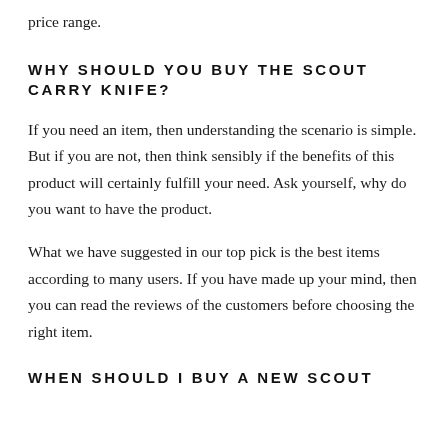price range.
WHY SHOULD YOU BUY THE SCOUT CARRY KNIFE?
If you need an item, then understanding the scenario is simple. But if you are not, then think sensibly if the benefits of this product will certainly fulfill your need. Ask yourself, why do you want to have the product.
What we have suggested in our top pick is the best items according to many users. If you have made up your mind, then you can read the reviews of the customers before choosing the right item.
WHEN SHOULD I BUY A NEW SCOUT